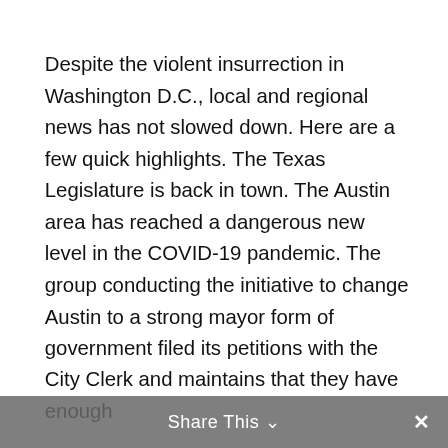Despite the violent insurrection in Washington D.C., local and regional news has not slowed down. Here are a few quick highlights. The Texas Legislature is back in town. The Austin area has reached a dangerous new level in the COVID-19 pandemic. The group conducting the initiative to change Austin to a strong mayor form of government filed its petitions with the City Clerk and maintains that they have enough
Share This ∨  ✕